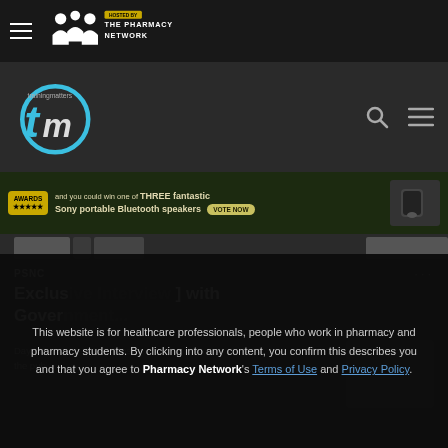[Figure (screenshot): Top navigation bar with hamburger menu and The Pharmacy Network logo on dark background]
[Figure (screenshot): Secondary navigation bar with trainingmatters (tm) logo, search icon, and hamburger menu on dark background]
[Figure (screenshot): Advertisement banner: AWARDS stars badge, text 'and you could win one of THREE fantastic Sony portable Bluetooth speakers' with VOTE NOW button and speaker image]
PSNC
Exclus[ive interview] with Gover[nment...]
Day Lev[...] [la]test the pub[lication].
This website is for healthcare professionals, people who work in pharmacy and pharmacy students. By clicking into any content, you confirm this describes you and that you agree to Pharmacy Network's Terms of Use and Privacy Policy.